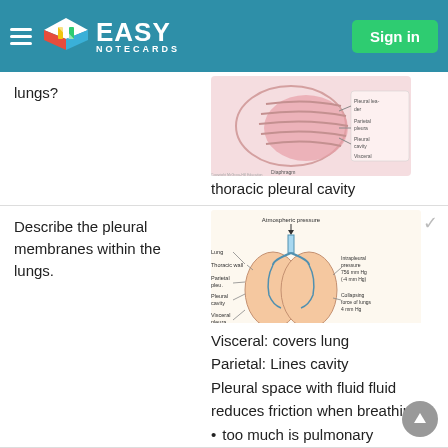Easy Notecards — Sign in
lungs?
[Figure (illustration): Anatomical diagram of the thoracic pleural cavity showing lungs, pleural layers, and surrounding structures]
thoracic pleural cavity
Describe the pleural membranes within the lungs.
[Figure (illustration): Diagram showing atmospheric pressure, lung, thoracic wall, parietal pleura, pleural cavity, visceral pleura, diaphragm, and intrapulmonary pressure 760 mm Hg (0 mm Hg), with intrapleural pressure 756 mm Hg (-4 mm Hg) and collapsing force of lungs 4 mm Hg]
Visceral: covers lung
Parietal: Lines cavity
Pleural space with fluid fluid reduces friction when breathing
too much is pulmonary